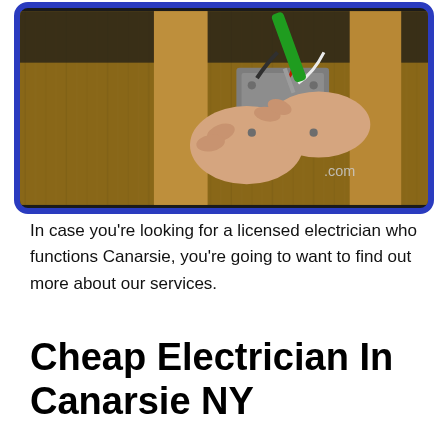[Figure (photo): A person's hands working on an electrical outlet or wiring inside a wall, with wooden framing visible and a green screwdriver. A partial URL '.com' is visible in the lower right of the image. The image is framed with a blue border and rounded corners.]
In case you're looking for a licensed electrician who functions Canarsie, you're going to want to find out more about our services.
Cheap Electrician In Canarsie NY